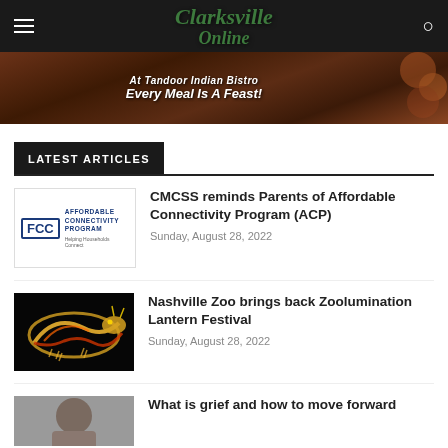Clarksville Online
[Figure (photo): Advertisement banner for Tandoor Indian Bistro with food background. Text: 'At Tandoor Indian Bistro Every Meal Is A Feast!']
LATEST ARTICLES
[Figure (logo): FCC Affordable Connectivity Program logo - Helping Households Connect]
CMCSS reminds Parents of Affordable Connectivity Program (ACP)
Sunday, August 28, 2022
[Figure (photo): Illuminated dragon lantern against dark background for Nashville Zoo Zoolumination Lantern Festival]
Nashville Zoo brings back Zoolumination Lantern Festival
Sunday, August 28, 2022
[Figure (photo): Person photo for grief article]
What is grief and how to move forward